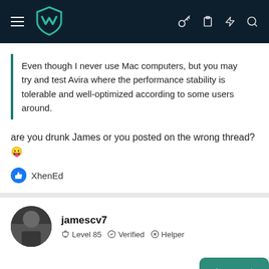MalwareTips forum header with logo and navigation icons
Even though I never use Mac computers, but you may try and test Avira where the performance stability is tolerable and well-optimized according to some users around.
are you drunk James or you posted on the wrong thread? 😛
XhenEd
jamescv7
Level 85  Verified  Helper
Jun 28, 2016
@Umbra @Rod McCarthy: Well it is a human error sorry about that